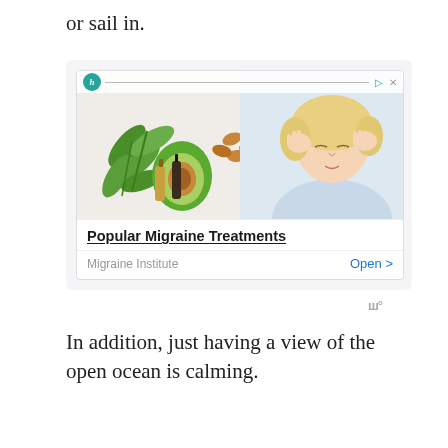or sail in.
[Figure (screenshot): An advertisement for 'Popular Migraine Treatments' from Migraine Institute. The ad features an image of a woman with her hands on her temples (headache pose) alongside herbs, avocado, nuts, and essential oil bottles. The ad has an 'Open >' button and a Migraine Institute logo.]
In addition, just having a view of the open ocean is calming.